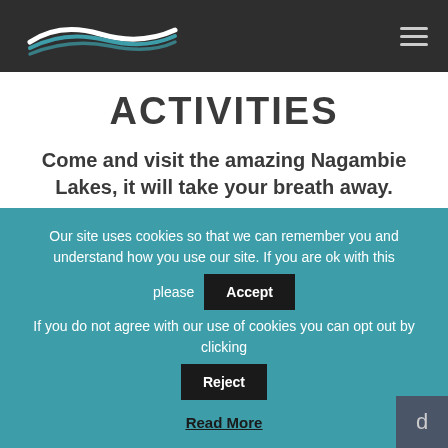Nagambie Lakes — site header with logo and hamburger menu
ACTIVITIES
Come and visit the amazing Nagambie Lakes, it will take your breath away.
Nagambie is an attractive holiday spot
Our site uses cookies so that we can remember you and understand how you use our site. If you are ok with this please Accept
If you do not agree with our use of cookies you can opt out by clicking Reject
Read More